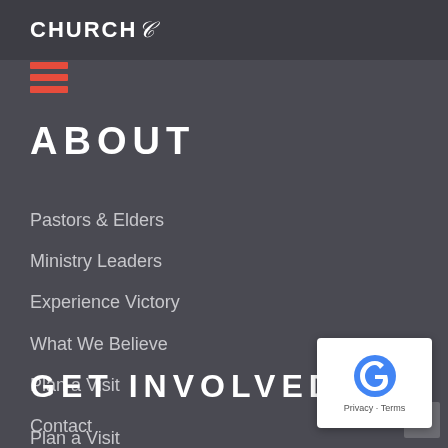CHURCH
[Figure (other): Red hamburger menu icon (three horizontal red bars)]
ABOUT
Pastors & Elders
Ministry Leaders
Experience Victory
What We Believe
Plan a Visit
Contact
GET INVOLVED
Plan a Visit
[Figure (other): Google reCAPTCHA widget with Privacy and Terms text, and scroll-to-top arrow button]